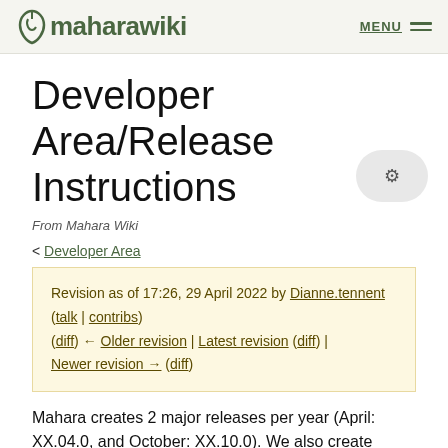maharawiki MENU
Developer Area/Release Instructions
From Mahara Wiki
< Developer Area
Revision as of 17:26, 29 April 2022 by Dianne.tennent (talk | contribs)
(diff) ← Older revision | Latest revision (diff) | Newer revision → (diff)
Mahara creates 2 major releases per year (April: XX.04.0, and October: XX.10.0). We also create 'minor point' releases when we need to add urgent fixes and